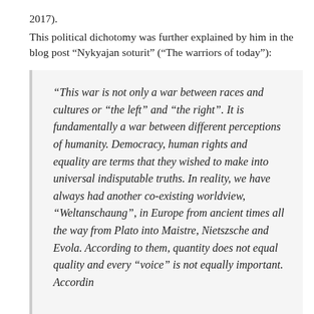2017).
This political dichotomy was further explained by him in the blog post “Nykyajan soturit” (“The warriors of today”):
“This war is not only a war between races and cultures or “the left” and “the right”. It is fundamentally a war between different perceptions of humanity. Democracy, human rights and equality are terms that they wished to make into universal indisputable truths. In reality, we have always had another co-existing worldview, “Weltanschaung”, in Europe from ancient times all the way from Plato into Maistre, Nietszsche and Evola. According to them, quantity does not equal quality and every “voice” is not equally important. Accordin…